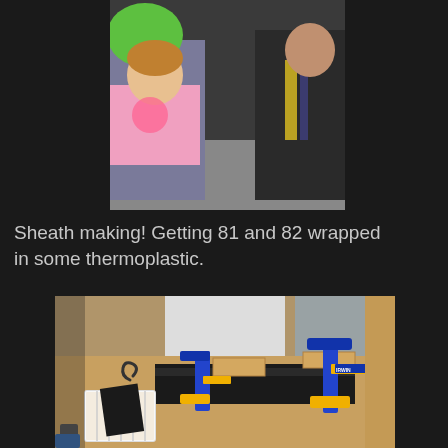[Figure (photo): Two children standing outside, one wearing a pink t-shirt with a colorful design, the other in a dark jacket with yellow accents. One child is holding a green balloon.]
Sheath making! Getting 81 and 82 wrapped in some thermoplastic.
[Figure (photo): A workbench with black thermoplastic sheaths being clamped together using IRWIN bar clamps with wooden cauls. A white basket with black material and a curved metal piece are also visible on the wooden table.]